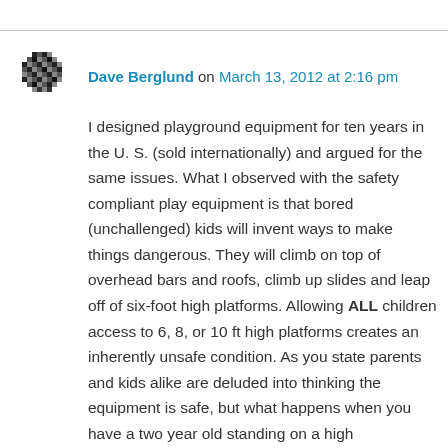[Figure (other): User avatar - small pixelated/mosaic style icon in black and white]
Dave Berglund on March 13, 2012 at 2:16 pm
I designed playground equipment for ten years in the U. S. (sold internationally) and argued for the same issues. What I observed with the safety compliant play equipment is that bored (unchallenged) kids will invent ways to make things dangerous. They will climb on top of overhead bars and roofs, climb up slides and leap off of six-foot high platforms. Allowing ALL children access to 6, 8, or 10 ft high platforms creates an inherently unsafe condition. As you state parents and kids alike are deluded into thinking the equipment is safe, but what happens when you have a two year old standing on a high